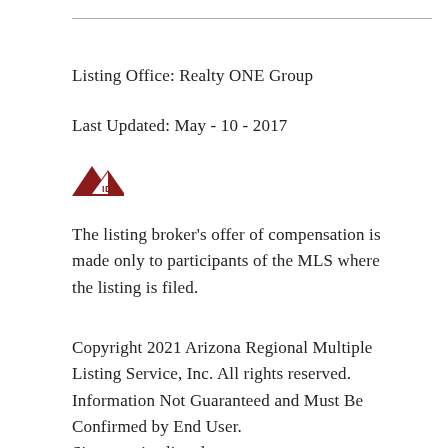Listing Office: Realty ONE Group
Last Updated: May - 10 - 2017
[Figure (logo): IDX logo: dark red triangle/mountain shape with 'IDX' text to the right]
The listing broker's offer of compensation is made only to participants of the MLS where the listing is filed.
Copyright 2021 Arizona Regional Multiple Listing Service, Inc. All rights reserved. Information Not Guaranteed and Must Be Confirmed by End User. Site contains live data.